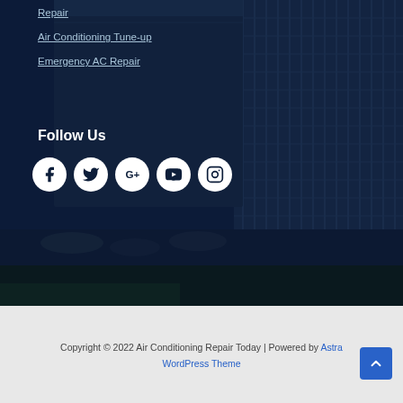[Figure (photo): Dark blue overlay on an outdoor HVAC air conditioning unit with metal grille, photographed from below against a night/dark background with some green grass visible.]
Repair
Air Conditioning Tune-up
Emergency AC Repair
Follow Us
[Figure (infographic): Five social media icons in white circles: Facebook, Twitter, Google+, YouTube, Instagram]
Copyright © 2022 Air Conditioning Repair Today | Powered by Astra WordPress Theme